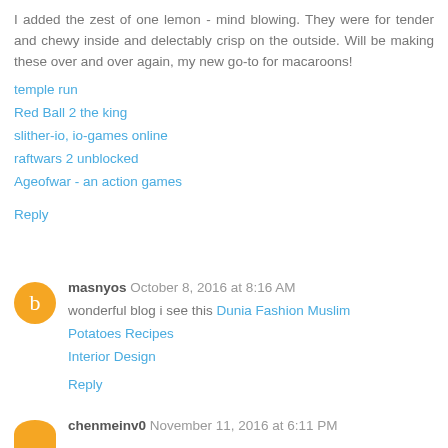I added the zest of one lemon - mind blowing. They were for tender and chewy inside and delectably crisp on the outside. Will be making these over and over again, my new go-to for macaroons!
temple run
Red Ball 2 the king
slither-io, io-games online
raftwars 2 unblocked
Ageofwar - an action games
Reply
masnyos  October 8, 2016 at 8:16 AM
wonderful blog i see this Dunia Fashion Muslim
Potatoes Recipes
Interior Design
Reply
chenmeinv0  November 11, 2016 at 6:11 PM